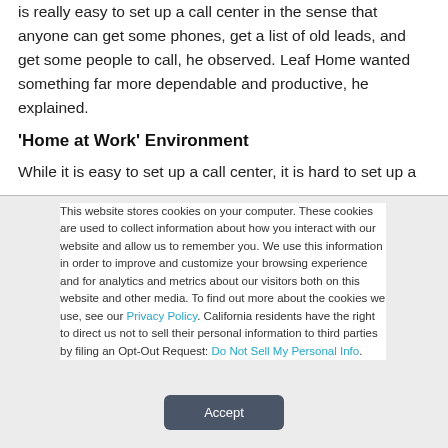is really easy to set up a call center in the sense that anyone can get some phones, get a list of old leads, and get some people to call, he observed. Leaf Home wanted something far more dependable and productive, he explained.
'Home at Work' Environment
While it is easy to set up a call center, it is hard to set up a
This website stores cookies on your computer. These cookies are used to collect information about how you interact with our website and allow us to remember you. We use this information in order to improve and customize your browsing experience and for analytics and metrics about our visitors both on this website and other media. To find out more about the cookies we use, see our Privacy Policy. California residents have the right to direct us not to sell their personal information to third parties by filing an Opt-Out Request: Do Not Sell My Personal Info.
Accept